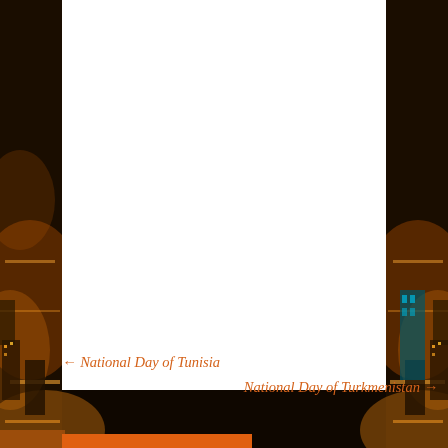[Figure (photo): Aerial night photograph of a city with orange street lights, buildings, and roads visible from above, dark background on left and right sides]
← National Day of Tunisia
National Day of Turkmenistan →